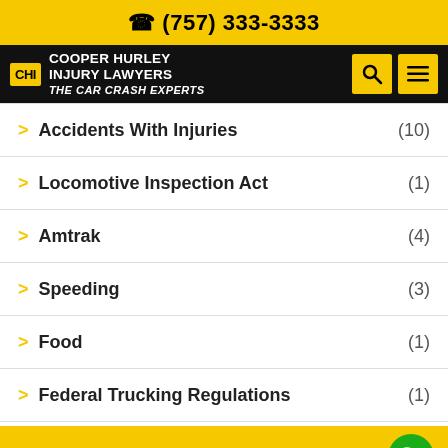(757) 333-3333
[Figure (logo): Cooper Hurley Injury Lawyers - The Car Crash Experts logo with yellow CHI badge on black navigation bar with search and menu icons]
Accidents With Injuries (10)
Locomotive Inspection Act (1)
Amtrak (4)
Speeding (3)
Food (1)
Federal Trucking Regulations (1)
US Railroad Retirement Board